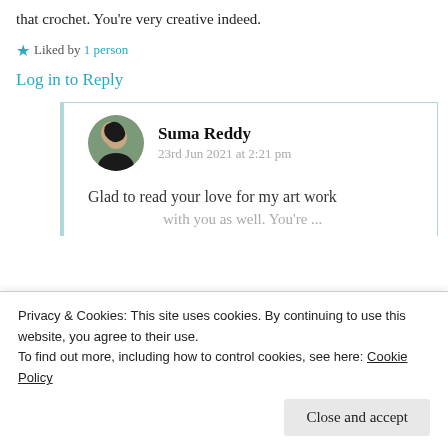that crochet. You're very creative indeed.
★ Liked by 1 person
Log in to Reply
Suma Reddy
23rd Jun 2021 at 2:21 pm
Glad to read your love for my art work
Privacy & Cookies: This site uses cookies. By continuing to use this website, you agree to their use.
To find out more, including how to control cookies, see here: Cookie Policy
Close and accept